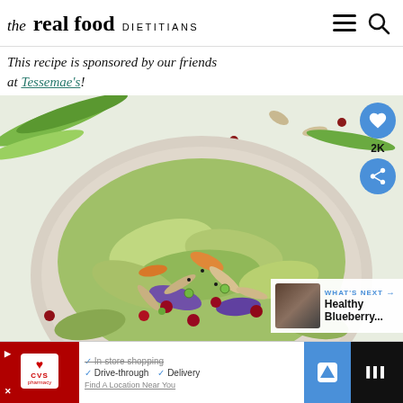the real food DIETITIANS
This recipe is sponsored by our friends at Tessemae's!
[Figure (photo): A bowl of colorful coleslaw salad with cranberries, almonds, green onions, shredded cabbage and carrots, in a white bowl on a light surface with green onions beside it. Overlaid with a heart/save button (2K saves) and a share button. A 'What's Next' thumbnail shows 'Healthy Blueberry...' with arrow.]
[Figure (screenshot): Advertisement banner for CVS Pharmacy with options: In-store shopping, Drive-through, Delivery, and a Find A Location Near You link with navigation icon.]